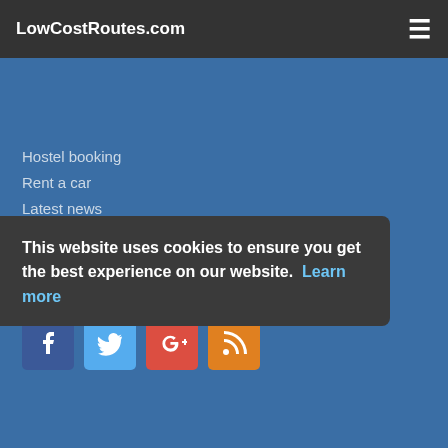LowCostRoutes.com
Hostel booking
Rent a car
Latest news
Airlines banned in the EU
Follow us on social media
[Figure (illustration): Social media icons: Facebook, Twitter, Google+, RSS]
This website uses cookies to ensure you get the best experience on our website. Learn more